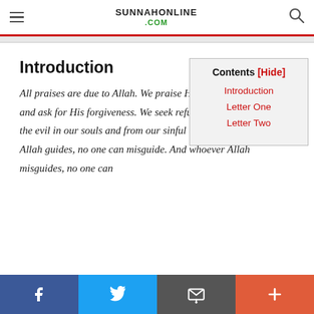SUNNAHONLINE .COM
Introduction
Contents [Hide]
Introduction
Letter One
Letter Two
All praises are due to Allah. We praise Him, seek His help, and ask for His forgiveness. We seek refuge in Allah from the evil in our souls and from our sinful deeds. Whoever Allah guides, no one can misguide. And whoever Allah misguides, no one can